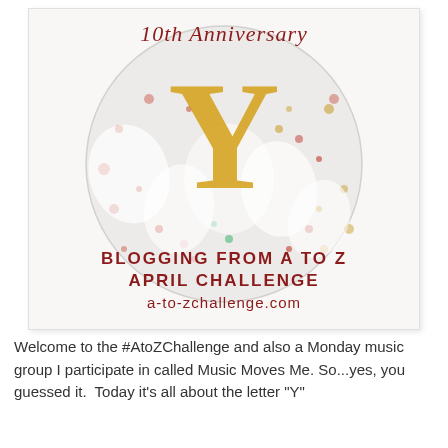[Figure (illustration): 10th Anniversary badge for Blogging From A to Z April Challenge featuring a large golden Y letter over a speckled circular background, with crimson text reading '10th Anniversary', 'BLOGGING FROM A TO Z', 'APRIL CHALLENGE', and 'a-to-zchallenge.com']
Welcome to the #AtoZChallenge and also a Monday music group I participate in called Music Moves Me. So...yes, you guessed it.  Today it's all about the letter "Y"